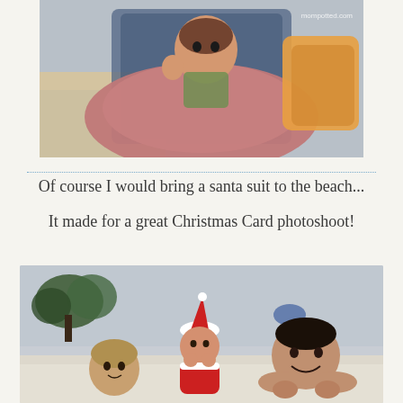[Figure (photo): A baby sitting in a beach chair wrapped in a pink towel, with an orange towel nearby. Watermark reads 'mompotted.com'.]
Of course I would bring a santa suit to the beach...
It made for a great Christmas Card photoshoot!
[Figure (photo): Three children on a beach. A younger boy on the left, a baby in a red and white Santa suit in the center, and a smiling teenage boy on the right lying down propped on his hands.]